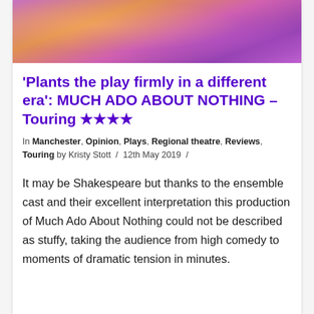[Figure (photo): Theatrical production photo showing colorful stage with performers, hues of pink, purple, orange on a tiled floor backdrop]
'Plants the play firmly in a different era': MUCH ADO ABOUT NOTHING – Touring ★★★★
In Manchester, Opinion, Plays, Regional theatre, Reviews, Touring by Kristy Stott / 12th May 2019 /
It may be Shakespeare but thanks to the ensemble cast and their excellent interpretation this production of Much Ado About Nothing could not be described as stuffy, taking the audience from high comedy to moments of dramatic tension in minutes.